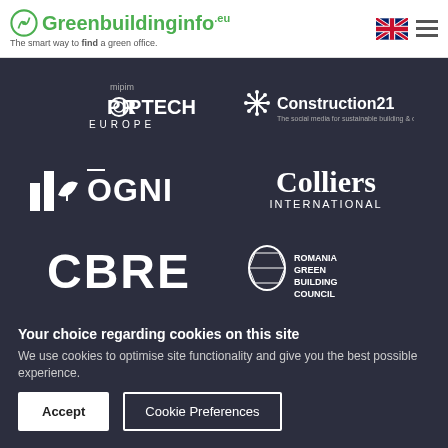Greenbuildinginfo.eu — The smart way to find a green office.
[Figure (logo): MIPIM PROPTECH EUROPE logo (white on dark)]
[Figure (logo): Construction21 logo (white on dark)]
[Figure (logo): OGNI logo with bar chart icon (white on dark)]
[Figure (logo): Colliers International logo (white on dark)]
[Figure (logo): CBRE logo (white on dark)]
[Figure (logo): Romania Green Building Council logo (white on dark)]
Your choice regarding cookies on this site
We use cookies to optimise site functionality and give you the best possible experience.
Accept | Cookie Preferences